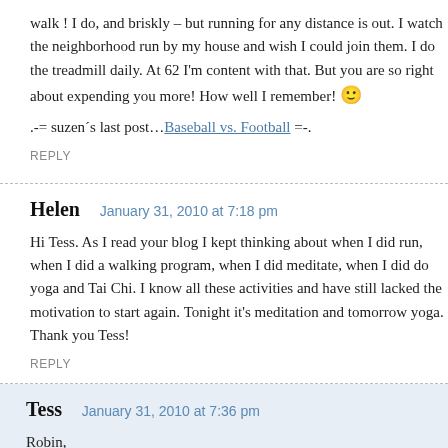walk ! I do, and briskly – but running for any distance is out. I watch the neighborhood run by my house and wish I could join them. I do the treadmill daily. At 62 I'm content with that. But you are so right about expending you more! How well I remember! 🙂
.–= suzen´s last post…Baseball vs. Football =–.
REPLY
Helen   January 31, 2010 at 7:18 pm
Hi Tess. As I read your blog I kept thinking about when I did run, when I did a walking program, when I did meditate, when I did do yoga and Tai Chi. I know all these activities and have still lacked the motivation to start again. Well not now. Tonight it's meditation and tomorrow yoga. Thank you Tess!
REPLY
Tess   January 31, 2010 at 7:36 pm
Robin,
Get me off the pedestal. People constantly do that. I just told a friend…